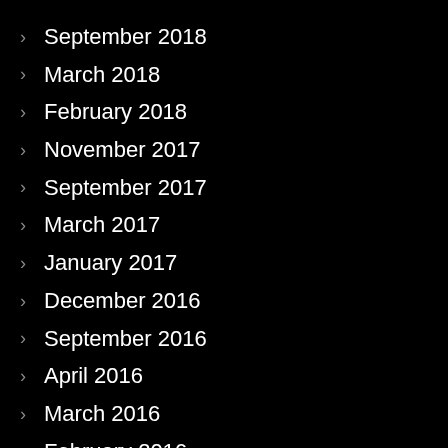September 2018
March 2018
February 2018
November 2017
September 2017
March 2017
January 2017
December 2016
September 2016
April 2016
March 2016
February 2016
May 2015
March 2015